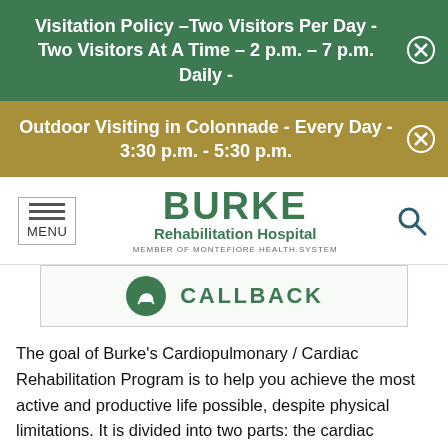Visitation Policy –Two Visitors Per Day - Two Visitors At A Time – 2 p.m. – 7 p.m. Daily -
Outdoor Visiting in Colonnade - Every Day - 3:30 p.m. - 5:30 p.m.
[Figure (logo): Burke Rehabilitation Hospital - Member of Montefiore Health System logo]
CALLBACK
The goal of Burke's Cardiopulmonary / Cardiac Rehabilitation Program is to help you achieve the most active and productive life possible, despite physical limitations. It is divided into two parts: the cardiac program